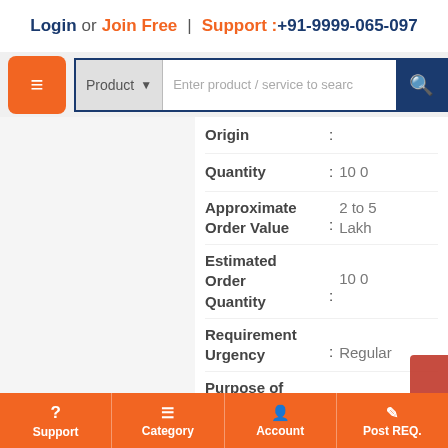Login or Join Free | Support :+91-9999-065-097
Product [dropdown] | Enter product / service to search [search button]
Origin :
Quantity : 10 0
Approximate Order Value : 2 to 5 Lakh
Estimated Order Quantity : 10 0
Requirement Urgency : Regular
Purpose of Purchase : Resale
Requirement Frequency :
Support | Category | Account | Post REQ.